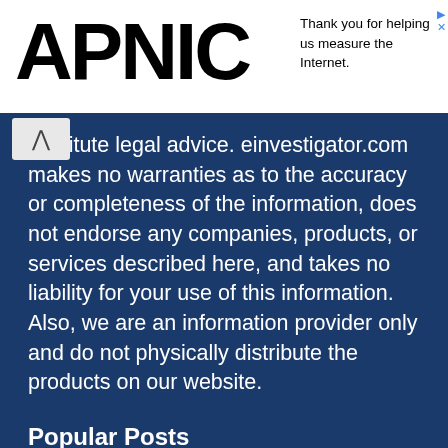APNIC
Thank you for helping us measure the Internet.
onstitute legal advice. einvestigator.com makes no warranties as to the accuracy or completeness of the information, does not endorse any companies, products, or services described here, and takes no liability for your use of this information. Also, we are an information provider only and do not physically distribute the products on our website.
Popular Posts
How To Get a Private Investigator License
August 16, 2022
Open Source Intelligence Tools (OSINT)